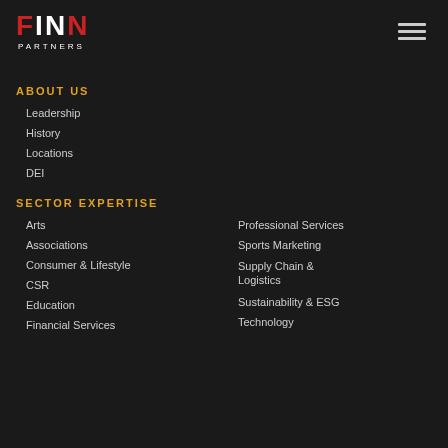[Figure (logo): FINN PARTNERS logo — FINN in large bold letters with F and second N in red, I and first N in white; PARTNERS in small white caps below]
ABOUT US
Leadership
History
Locations
DEI
SECTOR EXPERTISE
Arts
Professional Services
Associations
Sports Marketing
Consumer & Lifestyle
Supply Chain & Logistics
CSR
Sustainability & ESG
Education
Technology
Financial Services